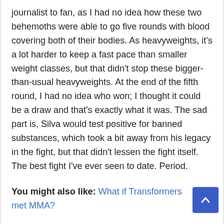journalist to fan, as I had no idea how these two behemoths were able to go five rounds with blood covering both of their bodies. As heavyweights, it's a lot harder to keep a fast pace than smaller weight classes, but that didn't stop these bigger-than-usual heavyweights. At the end of the fifth round, I had no idea who won; I thought it could be a draw and that's exactly what it was. The sad part is, Silva would test positive for banned substances, which took a bit away from his legacy in the fight, but that didn't lessen the fight itself. The best fight I've ever seen to date. Period.
You might also like: What if Transformers met MMA?